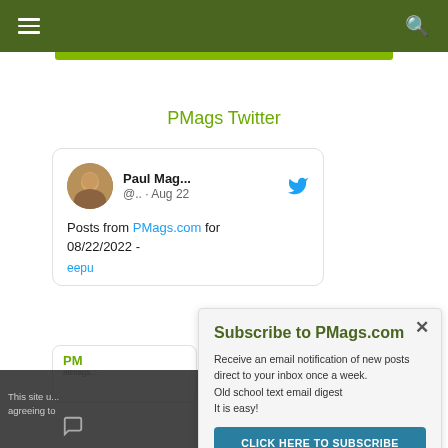PMags.com navigation bar with hamburger menu and search icon
PMags Twitter
[Figure (screenshot): Tweet card showing Paul Mag... @.. · Aug 22 with Twitter bird icon, text: Posts from PMags.com for 08/22/2022 -]
Posts from PMags.com for 08/22/2022 -
Subscribe to PMags.com
Receive an email notification of new posts direct to your inbox once a week.
Old school text email digest
It is easy!
CLICK HERE TO SUBSCRIBE
This site u... agreeing to...